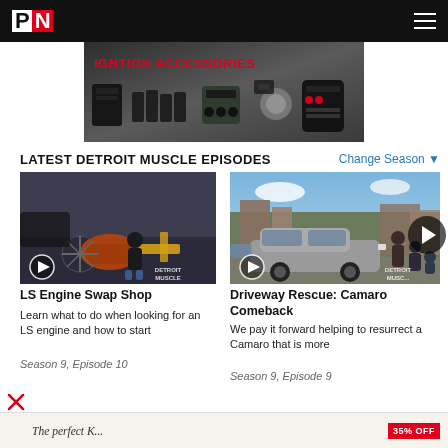PN
[Figure (photo): Advertisement banner for Ignition Accessories showing various ignition parts and components on a dark background]
LATEST DETROIT MUSCLE EPISODES
Change Season
[Figure (screenshot): Thumbnail for LS Engine Swap Shop episode showing a mechanic with an engine in a garage, Detroit Muscle watermark]
LS Engine Swap Shop
Learn what to do when looking for an LS engine and how to start
Season 9, Episode 10
[Figure (screenshot): Thumbnail for Driveway Rescue: Camaro Comeback episode showing a classic Camaro on a street with people around it, Detroit Muscle watermark]
Driveway Rescue: Camaro Comeback
We pay it forward helping to resurrect a Camaro that is more
Season 9, Episode 9
[Figure (photo): Bottom advertisement banner, partially visible]